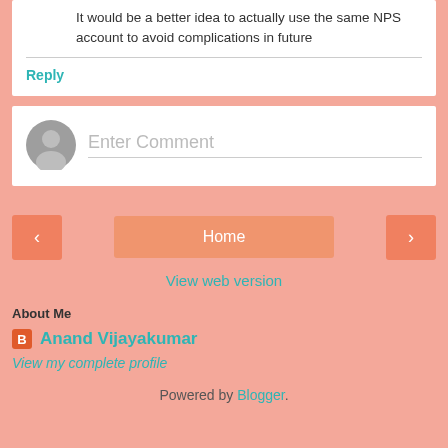It would be a better idea to actually use the same NPS account to avoid complications in future
Reply
Enter Comment
Home
View web version
About Me
Anand Vijayakumar
View my complete profile
Powered by Blogger.